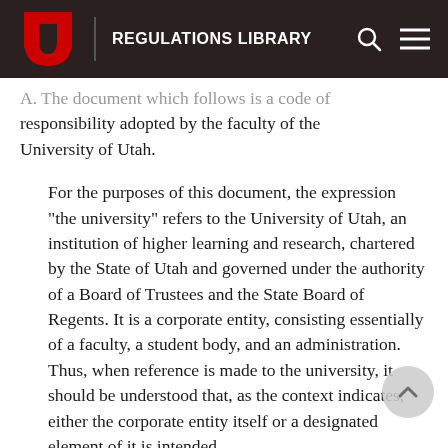REGULATIONS LIBRARY
A. The document which follows is a code of responsibility adopted by the faculty of the University of Utah.
For the purposes of this document, the expression "the university" refers to the University of Utah, an institution of higher learning and research, chartered by the State of Utah and governed under the authority of a Board of Trustees and the State Board of Regents. It is a corporate entity, consisting essentially of a faculty, a student body, and an administration. Thus, when reference is made to the university, it should be understood that, as the context indicates, either the corporate entity itself or a designated element of it is intended